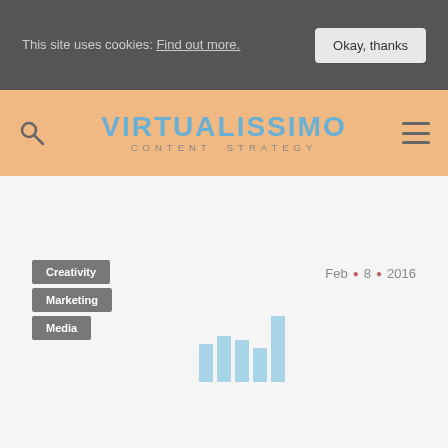This site uses cookies: Find out more.
Okay, thanks
[Figure (logo): Virtualissimo Content Strategy logo on orange/peach header bar with search icon and hamburger menu]
Creativity
Marketing
Media
Feb • 8 • 2016
[Figure (illustration): Bar chart loading indicator with light blue bars of varying heights]